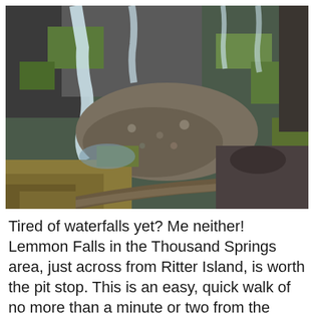[Figure (photo): Outdoor landscape photograph of a waterfall (Lemmon Falls) cascading over mossy rocky cliffs, with a dirt trail winding through dry grass and rocky terrain in the foreground. The scene is set in the Thousand Springs area near Ritter Island.]
Tired of waterfalls yet? Me neither! Lemmon Falls in the Thousand Springs area, just across from Ritter Island, is worth the pit stop. This is an easy, quick walk of no more than a minute or two from the parking area